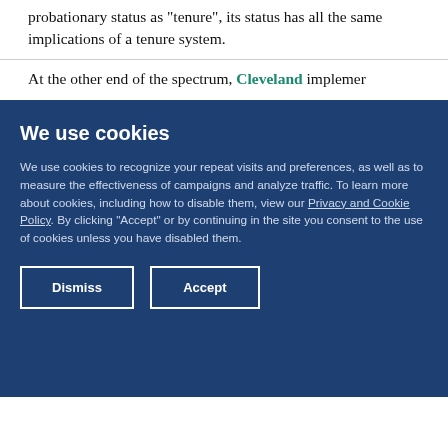the classroom. While Mississippi does not refer to non-probationary status as "tenure", its status has all the same implications of a tenure system.
At the other end of the spectrum, Cleveland implements...
We use cookies
We use cookies to recognize your repeat visits and preferences, as well as to measure the effectiveness of campaigns and analyze traffic. To learn more about cookies, including how to disable them, view our Privacy and Cookie Policy. By clicking "Accept" or by continuing in the site you consent to the use of cookies unless you have disabled them.
Dismiss | Accept